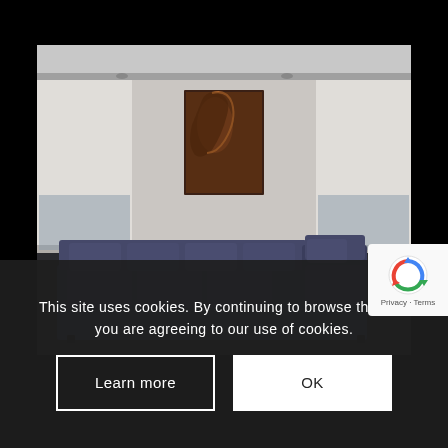[Figure (photo): A modern living room with a large dark blue/navy L-shaped sectional sofa, a large portrait artwork on the wall depicting a face in profile with brown/copper tones, light-colored walls with recessed lighting, and a faint ocean scene in the background panels.]
[Figure (logo): Google reCAPTCHA badge showing a blue circular arrow logo with 'Privacy - Terms' text below.]
This site uses cookies. By continuing to browse the site, you are agreeing to our use of cookies.
Learn more
OK